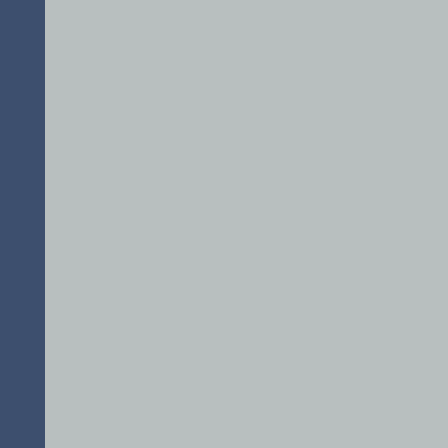standing). For this additional reason, the case should be remanded for dismissal.
III. GreenTree failed to pr
BAC's complaint alleged that GreenTree fail to present a servicer of Mr. Green's loan at the inc Mae loan, he had no know (Transcripts, page 45, line power of attorneys betwe Home Loans Servicing, LP records, GreenTree canno case, or BAC's status as a should be dismissed.
B. Aside from BAC's lac since the recordshows G
Aside from BAC's lack ob judgment to GreenTree s